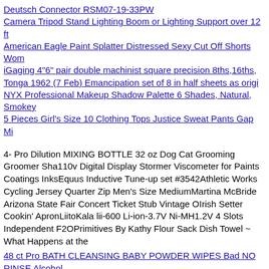Deutsch Connector RSM07-19-33PW
Camera Tripod Stand Lighting Boom or Lighting Support over 12 ft
American Eagle Paint Splatter Distressed Sexy Cut Off Shorts Wom
iGaging 4"6" pair double machinist square precision 8ths,16ths,
Tonga 1962 (7 Feb) Emancipation set of 8 in half sheets as origi
NYX Professional Makeup Shadow Palette 6 Shades, Natural, Smokey
5 Pieces Girl's Size 10 Clothing Tops Justice Sweat Pants Gap Mi
4- Pro Dilution MIXING BOTTLE 32 oz Dog Cat Grooming Groomer Sha110v Digital Display Stormer Viscometer for Paints Coatings InksEquus Inductive Tune-up set #3542Athletic Works Cycling Jersey Quarter Zip Men's Size MediumMartina McBride Arizona State Fair Concert Ticket Stub Vintage OIrish Setter Cookin' ApronLiitoKala lii-600 Li-ion-3.7V Ni-MH1.2V 4 Slots Independent F2OPrimitives By Kathy Flour Sack Dish Towel ~ What Happens at the
48 ct Pro BATH CLEANSING BABY POWDER WIPES Bad NO RINSE Alcohol...